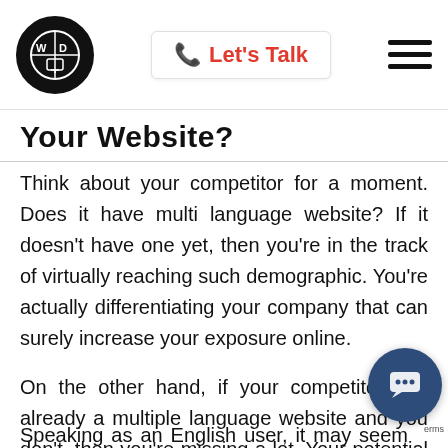Let's Talk [navigation bar with logo and hamburger menu]
Your Website?
Think about your competitor for a moment. Does it have multi language website? If it doesn't have one yet, then you're in the track of virtually reaching such demographic. You're actually differentiating your company that can surely increase your exposure online.
On the other hand, if your competitor has already a multiple language website and you don't, then you're missing a lot. Your potential clients will surely choose your competitor over your se…
Speaking as an English user, it may seem that it is…